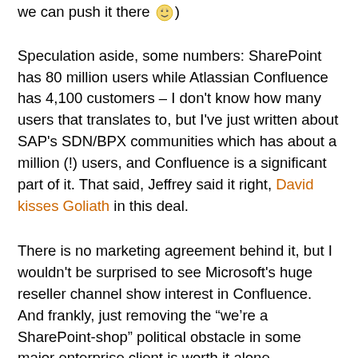we can push it there 🙂)
Speculation aside, some numbers: SharePoint has 80 million users while Atlassian Confluence has 4,100 customers – I don't know how many users that translates to, but I've just written about SAP's SDN/BPX communities which has about a million (!) users, and Confluence is a significant part of it. That said, Jeffrey said it right, David kisses Goliath in this deal.
There is no marketing agreement behind it, but I wouldn't be surprised to see Microsoft's huge reseller channel show interest in Confluence. And frankly, just removing the “we're a SharePoint-shop” political obstacle in some major enterprise client is worth it alone.
Sour grapes? Competitor Socialtext announced their SharePoint integration a year ago, and CEO Ross Mayfield says SharePoint wiki was last year's news. Well, I think